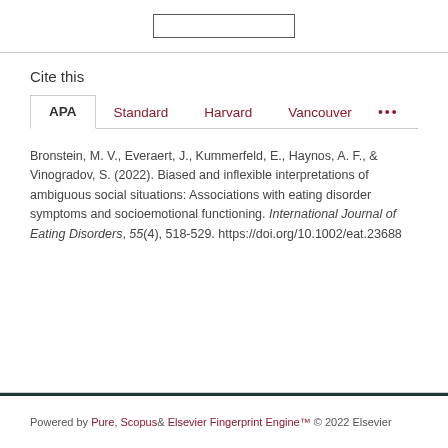Cite this
APA   Standard   Harvard   Vancouver   ...
Bronstein, M. V., Everaert, J., Kummerfeld, E., Haynos, A. F., & Vinogradov, S. (2022). Biased and inflexible interpretations of ambiguous social situations: Associations with eating disorder symptoms and socioemotional functioning. International Journal of Eating Disorders, 55(4), 518-529. https://doi.org/10.1002/eat.23688
Powered by Pure, Scopus & Elsevier Fingerprint Engine™ © 2022 Elsevier